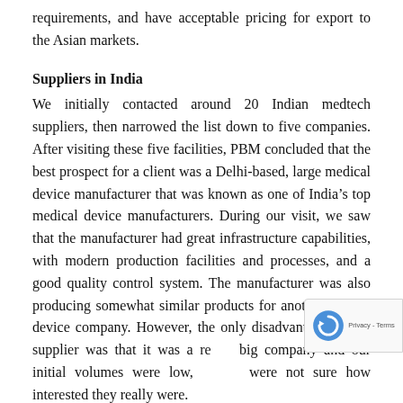requirements, and have acceptable pricing for export to the Asian markets.
Suppliers in India
We initially contacted around 20 Indian medtech suppliers, then narrowed the list down to five companies. After visiting these five facilities, PBM concluded that the best prospect for a client was a Delhi-based, large medical device manufacturer that was known as one of India's top medical device manufacturers. During our visit, we saw that the manufacturer had great infrastructure capabilities, with modern production facilities and processes, and a good quality control system. The manufacturer was also producing somewhat similar products for another foreign device company. However, the only disadvantage of this supplier was that it was a really big company and our initial volumes were low, so we were not sure how interested they really were.